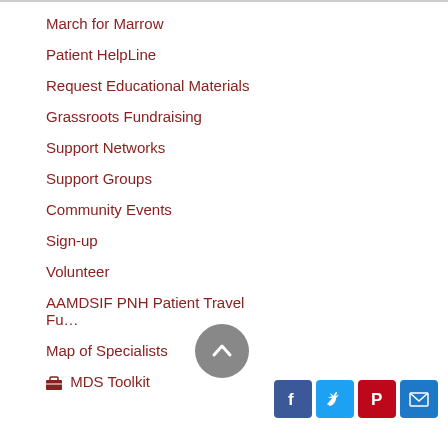March for Marrow
Patient HelpLine
Request Educational Materials
Grassroots Fundraising
Support Networks
Support Groups
Community Events
Sign-up
Volunteer
AAMDSIF PNH Patient Travel Fu…
Map of Specialists
MDS Toolkit